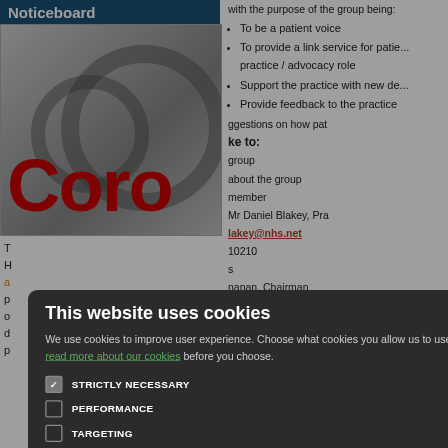Noticeboard
[Figure (photo): Stethoscope image with large red bold text 'Coro' overlay, partially visible, suggesting a Coronavirus-related noticeboard article.]
T H a p o d p
To be a patient voice
To provide a link service for patie... practice / advocacy role
Support the practice with new de...
Provide feedback to the practice
ggestions on how pat
ke to:
group
about the group
member
Mr Daniel Blakey, Pra
lakey@nhs.net
10210
s
nanan, Chairman
y, Secretary
Mr Geoffrey Griffiths, Patient Represe
[Figure (screenshot): Cookie consent modal dialog on a dark overlay. Title: 'This website uses cookies'. Description: 'We use cookies to improve user experience. Choose what cookies you allow us to use. You can read more about our cookies before you choose.' Checkboxes: STRICTLY NECESSARY (checked), PERFORMANCE, TARGETING, FUNCTIONALITY. Buttons: ACCEPT ALL (green), DECLINE ALL (outline).]